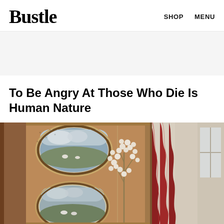Bustle  SHOP  MENU
To Be Angry At Those Who Die Is Human Nature
[Figure (illustration): Detail of a medieval or Renaissance-style illuminated painting showing framed oval landscape vignettes with pastoral scenes, decorative floral motifs with white flowers, and a red draped curtain near a window on the right side. The palette is muted earth tones — ochre, brown, rust — with touches of grey and white.]